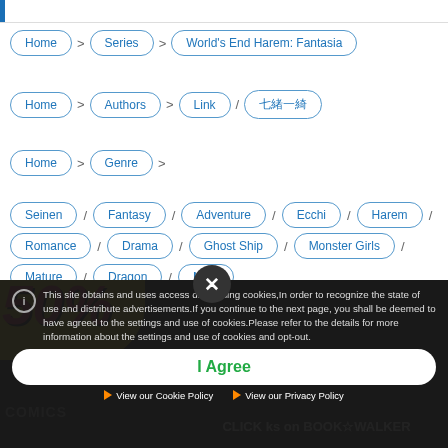Home > Series > World's End Harem: Fantasia
Home > Authors > Link / 七緒一綺
Home > Genre >
Seinen / Fantasy / Adventure / Ecchi / Harem / Romance / Drama / Ghost Ship / Monster Girls / Mature / Dragon / Maid
[Figure (screenshot): Cookie consent overlay on BOOK WALKER website. Dark overlay with cookie notice text, I Agree button, and links to Cookie Policy and Privacy Policy. A promotional banner showing 50% off is partially visible behind the overlay.]
This site obtains and uses access data, using cookies,In order to recognize the state of use and distribute advertisements.If you continue to the next page, you shall be deemed to have agreed to the settings and use of cookies.Please refer to the details for more information about the settings and use of cookies and opt-out.
I Agree
▶ View our Cookie Policy    ▶ View our Privacy Policy